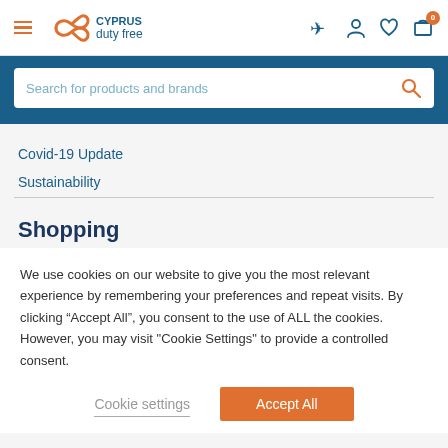[Figure (logo): Cyprus Duty Free logo with orange infinity/wing symbol and teal text]
Search for products and brands
Covid-19 Update
Sustainability
Shopping
We use cookies on our website to give you the most relevant experience by remembering your preferences and repeat visits. By clicking “Accept All”, you consent to the use of ALL the cookies. However, you may visit "Cookie Settings" to provide a controlled consent.
Cookie settings
Accept All